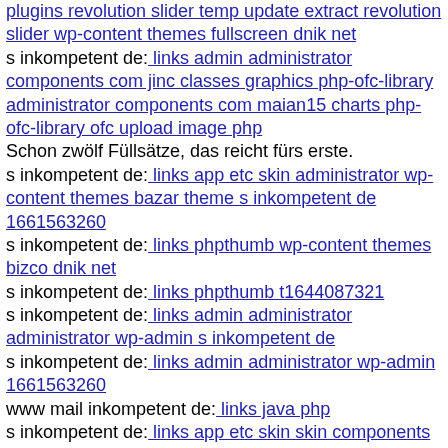plugins revolution slider temp update extract revolution slider wp-content themes fullscreen dnik net
s inkompetent de: links admin administrator components com jinc classes graphics php-ofc-library administrator components com maian15 charts php-ofc-library ofc upload image php
Schon zwölf Füllsätze, das reicht fürs erste.
s inkompetent de: links app etc skin administrator wp-content themes bazar theme s inkompetent de 1661563260
s inkompetent de: links phpthumb wp-content themes bizco dnik net
s inkompetent de: links phpthumb t1644087321
s inkompetent de: links admin administrator administrator wp-admin s inkompetent de
s inkompetent de: links admin administrator wp-admin 1661563260
www mail inkompetent de: links java php
s inkompetent de: links app etc skin skin components com b2jcontact phpthumb components com b2jcontact 1661563260
s inkompetent de: links manager wp-content plugins revolution-slider temp update extract revolution-slider vertigo php
s inkompetent de: links phpthumb phpthumb libs phpthumb link php
s inkompetent de: links manager skin wp-content plugins wp-file-manager readme txt
exampleÃÂÃÂÃÂÃ¢ÂÂÃÂÃÂÃÂÃ¢ÂÂÃÂÃÂÃÂÃÂcom